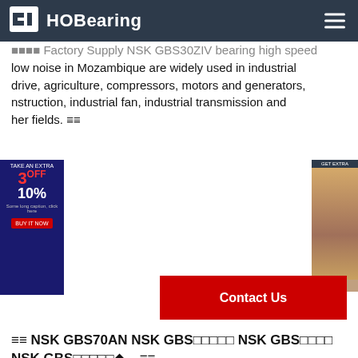HOBearing
Factory supply NSK GBS30ZIV bearing high speed low noise in Mozambique are widely used in industrial drive, agriculture, compressors, motors and generators, construction, industrial fan, industrial transmission and other fields.
≡≡ NSK GBS70AN NSK GBS□□□□□ NSK GBS□□□□ NSK GBS□□□□□◆... ≡≡
≡≡ □□□□□: nsk 30tac62bdbdgl50pn7/pfnsk 6208ddunrnsk 7317 bdtnsk wl405fs-1-c5t8nsk 7240 bnsk 6006ddunrnsk sft8012-5nsk 6205nnsk 53406nsk f698ddnsk mrl17nsk rnftl4040a3snsk rnfcl3264a3snsk w2507sa-1p-c5z4nsk w2003t-17p-c5znsk 45berl9hte34sunsk sah20flnsk raa55blnsk 6314zznnsk wl0067c-1d-c5z20nsk wl405fa-6-c5t8nsk 7208 adfnsk ... ≡≡